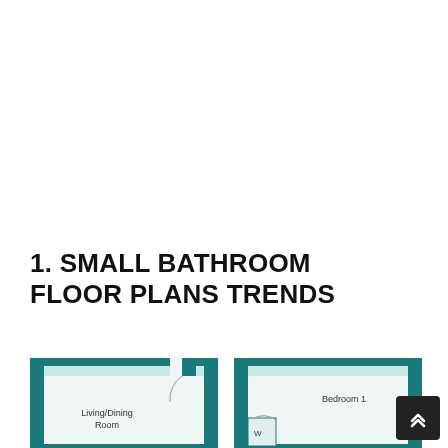1. SMALL BATHROOM FLOOR PLANS TRENDS
[Figure (engineering-diagram): Two architectural floor plan diagrams showing small bathroom layouts. Left plan shows a room labeled Living/Dining Room with a door arc in upper right corner, surrounded by thick teal/dark cyan walls with a light blue top accent strip. Right plan shows a room labeled Bedroom 1 with a small area labeled W (wardrobe) with a door arc, surrounded by thick teal walls with a light blue top accent strip. Both plans are partially cropped at the bottom of the page.]